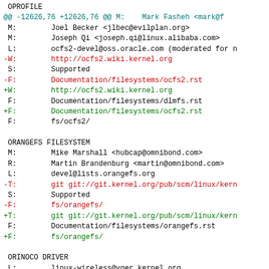OPROFILE
@@ -12626,76 +12626,76 @@ M:    Mark Fasheh <mark@f
 M:        Joel Becker <jlbec@evilplan.org>
 M:        Joseph Qi <joseph.qi@linux.alibaba.com>
 L:        ocfs2-devel@oss.oracle.com (moderated for n
-W:        http://ocfs2.wiki.kernel.org
 S:        Supported
-F:        Documentation/filesystems/ocfs2.rst
+W:        http://ocfs2.wiki.kernel.org
 F:        Documentation/filesystems/dlmfs.rst
+F:        Documentation/filesystems/ocfs2.rst
 F:        fs/ocfs2/

 ORANGEFS FILESYSTEM
 M:        Mike Marshall <hubcap@omnibond.com>
 R:        Martin Brandenburg <martin@omnibond.com>
 L:        devel@lists.orangefs.org
-T:        git git://git.kernel.org/pub/scm/linux/kern
 S:        Supported
-F:        fs/orangefs/
+T:        git git://git.kernel.org/pub/scm/linux/kern
 F:        Documentation/filesystems/orangefs.rst
+F:        fs/orangefs/

 ORINOCO DRIVER
 L:        linux-wireless@vger.kernel.org
+S:        Orphan
 W:        http://wireless.kernel.org/en/users/Drivers
 W:        http://www.nongnu.org/orinoco/
-S:        Orphan